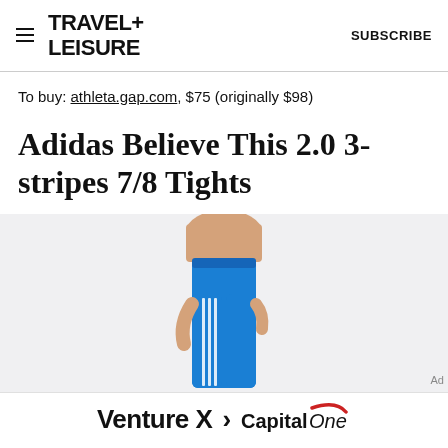TRAVEL+ LEISURE  SUBSCRIBE
To buy: athleta.gap.com, $75 (originally $98)
Adidas Believe This 2.0 3-stripes 7/8 Tights
[Figure (photo): Person wearing blue Adidas Believe This 2.0 3-stripes 7/8 Tights, showing torso and legs against a light grey background]
[Figure (other): Capital One Venture X advertisement banner with text 'Venture X > Capital One']